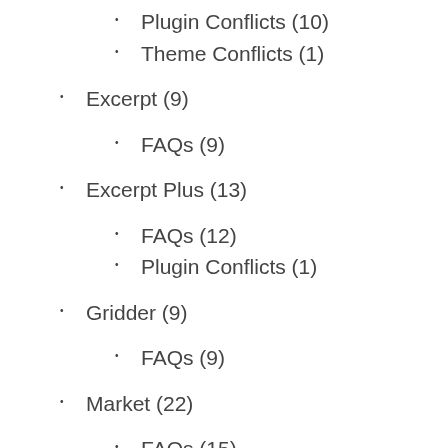Plugin Conflicts (10)
Theme Conflicts (1)
Excerpt (9)
FAQs (9)
Excerpt Plus (13)
FAQs (12)
Plugin Conflicts (1)
Gridder (9)
FAQs (9)
Market (22)
FAQs (15)
Plugin Conflicts (7)
Slim (8)